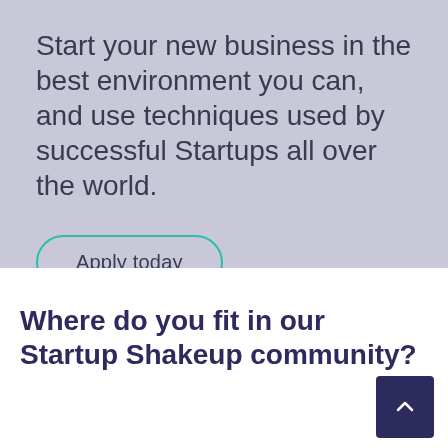Start your new business in the best environment you can, and use techniques used by successful Startups all over the world.
Apply today
Where do you fit in our Startup Shakeup community?